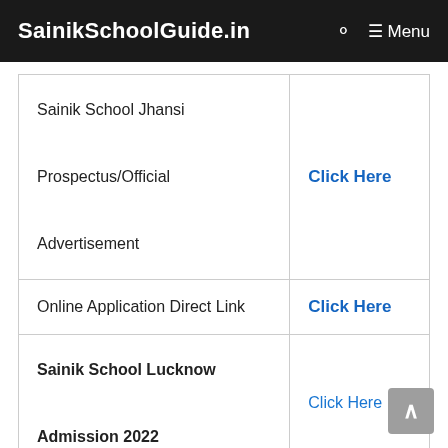SainikSchoolGuide.in  Menu
| Sainik School Jhansi Prospectus/Official Advertisement | Click Here |
| Online Application Direct Link | Click Here |
| Sainik School Lucknow Admission 2022 | Click Here |
| Sainik School Jhansi 2022 Apply Online Link | Click Here |